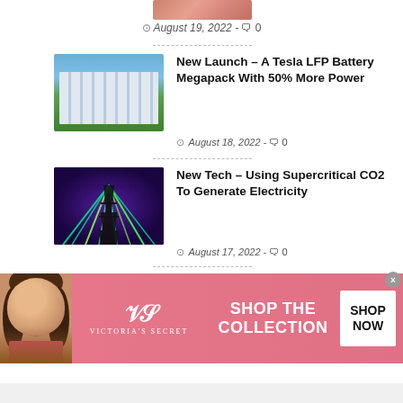[Figure (photo): Partially cropped thumbnail image at top]
August 19, 2022 - 0
New Launch – A Tesla LFP Battery Megapack With 50% More Power
[Figure (photo): Tesla LFP Battery Megapack white units on green field]
August 18, 2022 - 0
New Tech – Using Supercritical CO2 To Generate Electricity
[Figure (photo): Electricity towers with purple/green light rays]
August 17, 2022 - 0
Michelin Says EV Owners Should Pay Special Attention To Tires
[Figure (photo): Michelin tire on road with green hills, tower in background]
[Figure (photo): Victoria's Secret advertisement banner with model, VS logo, SHOP THE COLLECTION text and SHOP NOW button]